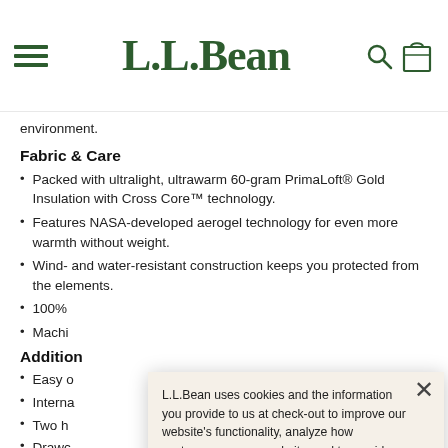L.L.Bean
environment.
Fabric & Care
Packed with ultralight, ultrawarm 60-gram PrimaLoft® Gold Insulation with Cross Core™ technology.
Features NASA-developed aerogel technology for even more warmth without weight.
Wind- and water-resistant construction keeps you protected from the elements.
100%
Machi
Addition
Easy o
Interna
Two h
Drawc
Take-a
Produc
L.L.Bean uses cookies and the information you provide to us at check-out to improve our website's functionality, analyze how customers use our website, and to provide more relevant advertising. You can read more in our privacy policy.

If you consent to this use please click "I agree."
I agree